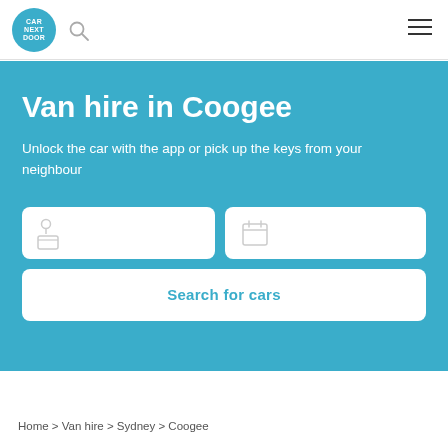CAR NEXT DOOR
Van hire in Coogee
Unlock the car with the app or pick up the keys from your neighbour
[Figure (screenshot): Location and date search input boxes with icons]
Search for cars
Home > Van hire > Sydney > Coogee